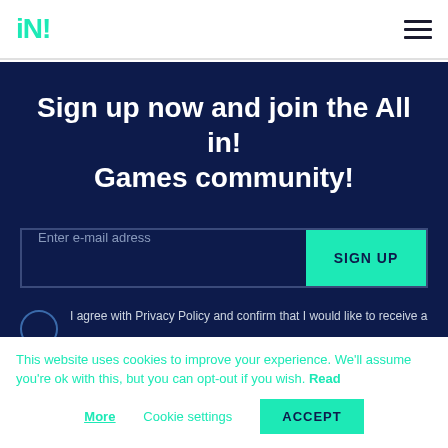iN! [logo] [hamburger menu]
Sign up now and join the All in! Games community!
Enter e-mail adress
SIGN UP
I agree with Privacy Policy and confirm that I would like to receive a
This website uses cookies to improve your experience. We'll assume you're ok with this, but you can opt-out if you wish. Read More   Cookie settings   ACCEPT